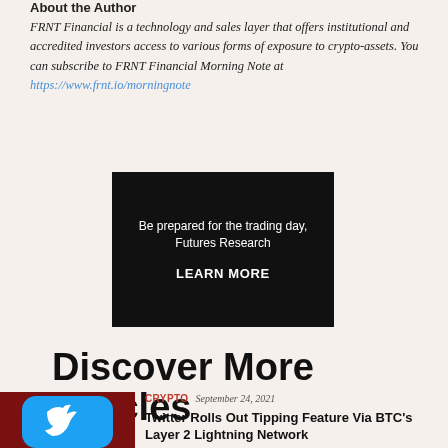About the Author
FRNT Financial is a technology and sales layer that offers institutional and accredited investors access to various forms of exposure to crypto-assets. You can subscribe to FRNT Financial Morning Note at https://www.frnt.io/morningnote
[Figure (other): Black advertisement box with white text: 'Be prepared for the trading day, Futures Research' and bold call-to-action 'LEARN MORE']
Discover More Articles
[Figure (photo): Photo showing a Twitter bird logo icon on a blue rounded square app icon against a dark red background]
CRYPTO   September 24, 2021
Twitter Rolls Out Tipping Feature Via BTC's Layer 2 Lightning Network